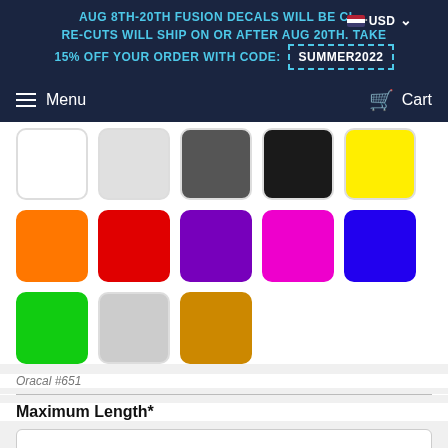AUG 8TH-20TH FUSION DECALS WILL BE CL... RE-CUTS WILL SHIP ON OR AFTER AUG 20TH. TAKE 15% OFF YOUR ORDER WITH CODE: SUMMER2022
Menu  Cart
[Figure (screenshot): Color swatches in two rows: white, light gray, dark gray, black, yellow (top row); orange, red, purple, magenta, blue (middle row); green, silver, gold (bottom row)]
Oracal #651
Maximum Length*
10" Long [Maximum Length] - $2.00 USD
[Figure (screenshot): Chat popup: Questions? We can help. Chat with us now.]
[Maximum Length... or more decals with registration marks for proper alignment!